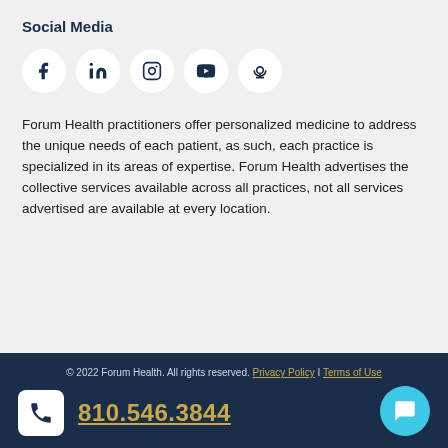Social Media
[Figure (illustration): Row of five social media icon circles: Facebook, LinkedIn, Instagram, YouTube, Podcast]
Forum Health practitioners offer personalized medicine to address the unique needs of each patient, as such, each practice is specialized in its areas of expertise. Forum Health advertises the collective services available across all practices, not all services advertised are available at every location.
© 2022 Forum Health. All rights reserved. Privacy Policy | Terms of Use
810.546.3844